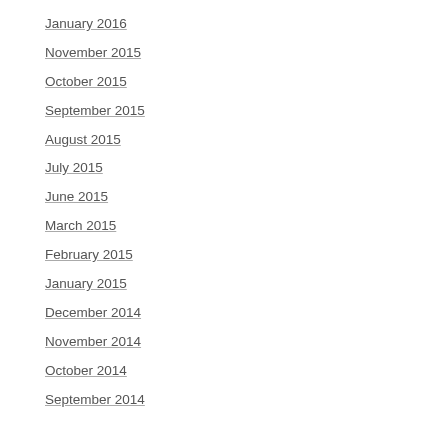January 2016
November 2015
October 2015
September 2015
August 2015
July 2015
June 2015
March 2015
February 2015
January 2015
December 2014
November 2014
October 2014
September 2014